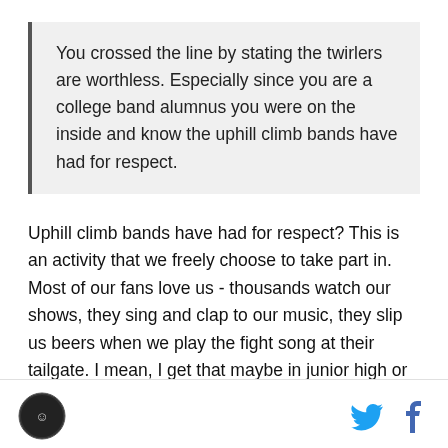You crossed the line by stating the twirlers are worthless. Especially since you are a college band alumnus you were on the inside and know the uphill climb bands have had for respect.
Uphill climb bands have had for respect? This is an activity that we freely choose to take part in. Most of our fans love us - thousands watch our shows, they sing and clap to our music, they slip us beers when we play the fight song at their tailgate. I mean, I get that maybe in junior high or high school the jocks might have picked on you, but you’re in college for goodness sake. My dorm friends liked to play “find GTom” like it